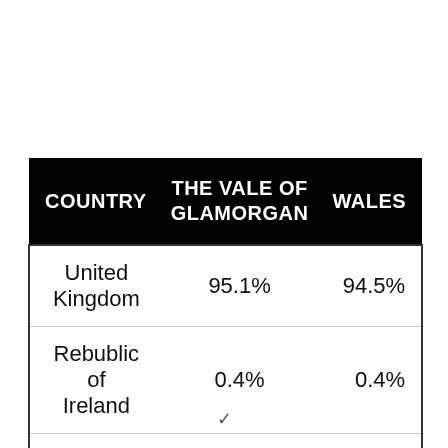| COUNTRY | THE VALE OF GLAMORGAN | WALES |
| --- | --- | --- |
| United Kingdom | 95.1% | 94.5% |
| Rebublic of Ireland | 0.4% | 0.4% |
| Other EU | 1.6% | 1.8% |